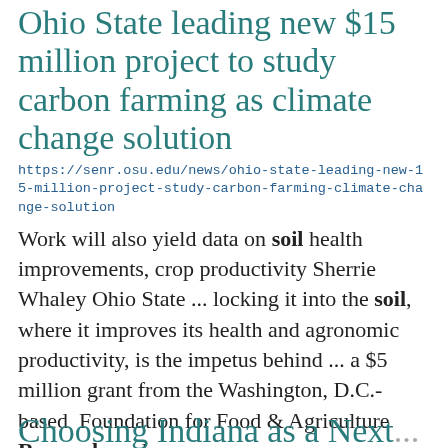Ohio State leading new $15 million project to study carbon farming as climate change solution
https://senr.osu.edu/news/ohio-state-leading-new-15-million-project-study-carbon-farming-climate-change-solution
Work will also yield data on soil health improvements, crop productivity Sherrie Whaley Ohio State ... locking it into the soil, where it improves its health and agronomic productivity, is the impetus behind ... a $5 million grant from the Washington, D.C.-based Foundation for Food & Agriculture Research and ...
Choosing Indiana as a Next...